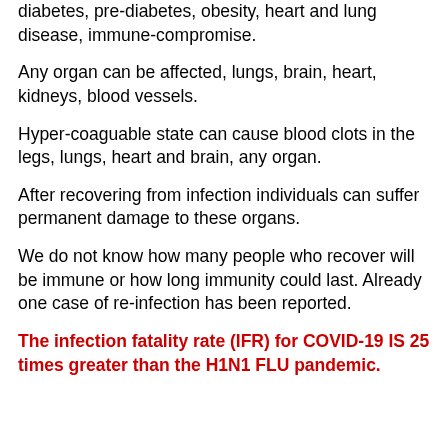diabetes, pre-diabetes, obesity, heart and lung disease, immune-compromise.
Any organ can be affected, lungs, brain, heart, kidneys, blood vessels.
Hyper-coaguable state can cause blood clots in the legs, lungs, heart and brain, any organ.
After recovering from infection individuals can suffer permanent damage to these organs.
We do not know how many people who recover will be immune or how long immunity could last. Already one case of re-infection has been reported.
The infection fatality rate (IFR) for COVID-19 IS 25 times greater than the H1N1 FLU pandemic.